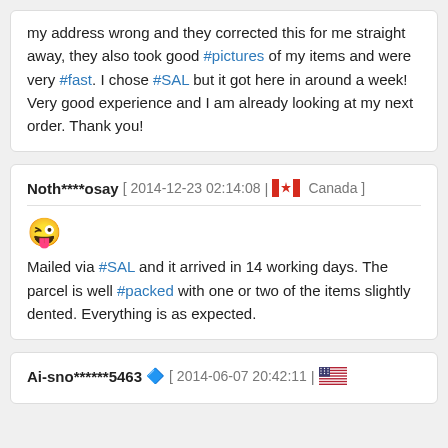my address wrong and they corrected this for me straight away, they also took good #pictures of my items and were very #fast. I chose #SAL but it got here in around a week! Very good experience and I am already looking at my next order. Thank you!
Noth****osay [ 2014-12-23 02:14:08 | Canada ]
😜 Mailed via #SAL and it arrived in 14 working days. The parcel is well #packed with one or two of the items slightly dented. Everything is as expected.
Ai-sno******5463 💎 [ 2014-06-07 20:42:11 |